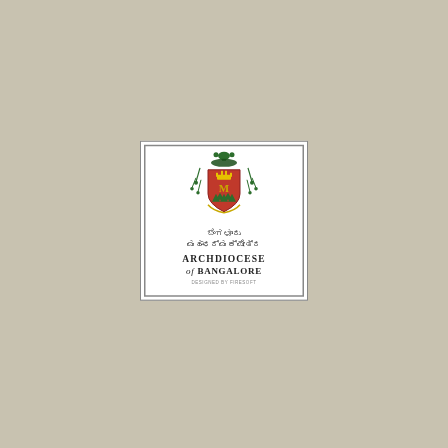[Figure (logo): Archdiocese of Bangalore logo: a heraldic crest with a red shield bearing a yellow crowned symbol, flanked by green tasseled pillars and topped with a green wreath/cross finial, with Kannada script text reading the Kannada name for Archdiocese of Bangalore, followed by 'ARCHDIOCESE of BANGALORE' in serif lettering, and 'DESIGNED BY FIRESOFT' in small caps at the bottom, all within a white double-bordered box on a beige/tan background.]